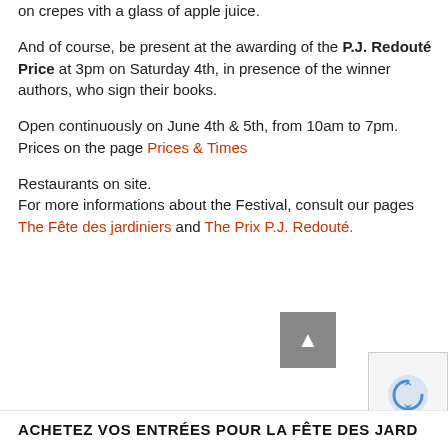on crepes vith a glass of apple juice.
And of course, be present at the awarding of the P.J. Redouté Price at 3pm on Saturday 4th, in presence of the winner authors, who sign their books.
Open continuously on June 4th & 5th, from 10am to 7pm.
Prices on the page Prices & Times
Restaurants on site.
For more informations about the Festival, consult our pages The Fête des jardiniers and The Prix P.J. Redouté.
ACHETEZ VOS ENTRÉES POUR LA FÊTE DES JARD